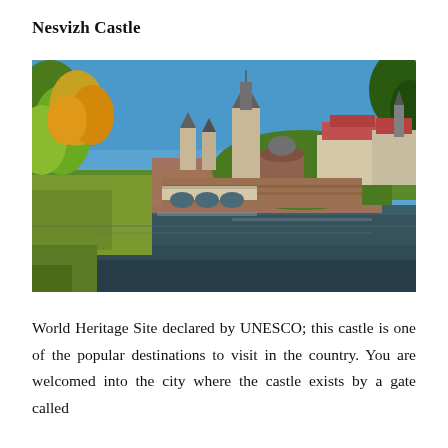Nesvizh Castle
[Figure (photo): Photograph of Nesvizh Castle in Belarus showing the castle complex with towers, red-roofed buildings, defensive walls, a bridge over a moat, green earthen ramparts, and a reflective river or moat in the foreground. Trees with autumn foliage are visible on the left under a bright blue sky.]
World Heritage Site declared by UNESCO; this castle is one of the popular destinations to visit in the country. You are welcomed into the city where the castle exists by a gate called